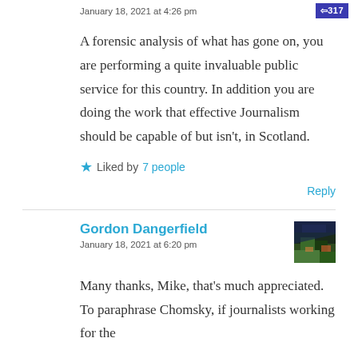January 18, 2021 at 4:26 pm
A forensic analysis of what has gone on, you are performing a quite invaluable public service for this country. In addition you are doing the work that effective Journalism should be capable of but isn't, in Scotland.
Liked by 7 people
Reply
Gordon Dangerfield
January 18, 2021 at 6:20 pm
Many thanks, Mike, that's much appreciated. To paraphrase Chomsky, if journalists working for the